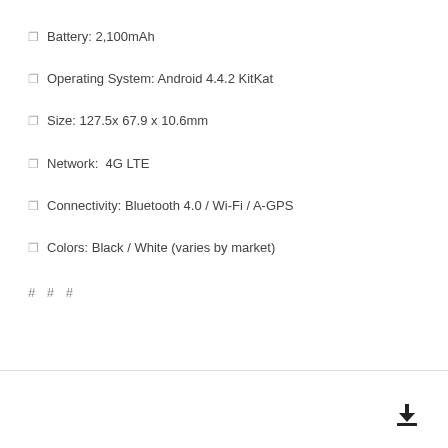Battery: 2,100mAh
Operating System: Android 4.4.2 KitKat
Size: 127.5x 67.9 x 10.6mm
Network:  4G LTE
Connectivity: Bluetooth 4.0 / Wi-Fi / A-GPS
Colors: Black / White (varies by market)
# # #